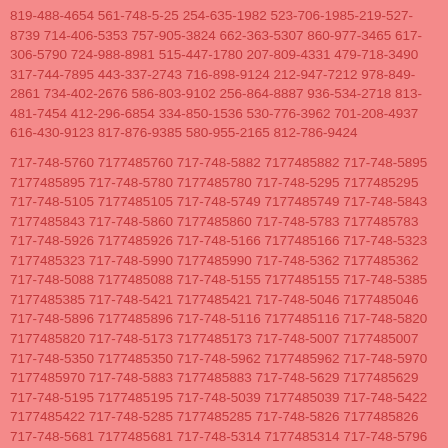819-488-4654 561-748-5-25 254-635-1982 523-706-1985-219-527-8739 714-406-5353 757-905-3824 662-363-5307 860-977-3465 617-306-5790 724-988-8981 515-447-1780 207-809-4331 479-718-3490 317-744-7895 443-337-2743 716-898-9124 212-947-7212 978-849-2861 734-402-2676 586-803-9102 256-864-8887 936-534-2718 813-481-7454 412-296-6854 334-850-1536 530-776-3962 701-208-4937 616-430-9123 817-876-9385 580-955-2165 812-786-9424
717-748-5760 7177485760 717-748-5882 7177485882 717-748-5895 7177485895 717-748-5780 7177485780 717-748-5295 7177485295 717-748-5105 7177485105 717-748-5749 7177485749 717-748-5843 7177485843 717-748-5860 7177485860 717-748-5783 7177485783 717-748-5926 7177485926 717-748-5166 7177485166 717-748-5323 7177485323 717-748-5990 7177485990 717-748-5362 7177485362 717-748-5088 7177485088 717-748-5155 7177485155 717-748-5385 7177485385 717-748-5421 7177485421 717-748-5046 7177485046 717-748-5896 7177485896 717-748-5116 7177485116 717-748-5820 7177485820 717-748-5173 7177485173 717-748-5007 7177485007 717-748-5350 7177485350 717-748-5962 7177485962 717-748-5970 7177485970 717-748-5883 7177485883 717-748-5629 7177485629 717-748-5195 7177485195 717-748-5039 7177485039 717-748-5422 7177485422 717-748-5285 7177485285 717-748-5826 7177485826 717-748-5681 7177485681 717-748-5314 7177485314 717-748-5796 7177485796 717-748-5428 7177485428 717-748-5491 7177485491 717-748-5073 7177485073 717-748-5713 7177485713